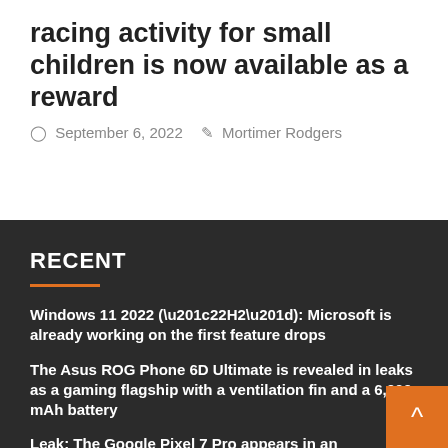racing activity for small children is now available as a reward
September 6, 2022   Mortimer Rodgers
RECENT
Windows 11 2022 (“22H2”): Microsoft is already working on the first feature drops
The Asus ROG Phone 6D Ultimate is revealed in leaks as a gaming flagship with a ventilation fin and a 6,000 mAh battery
Leak: The Google Pixel 7 Pro appears in an unboxing video months before launch
Alternatively of 3.99 euros for no cost: this racing activity for